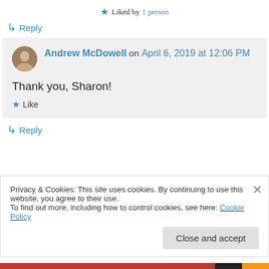★ Liked by 1 person
↳ Reply
Andrew McDowell on April 6, 2019 at 12:06 PM
Thank you, Sharon!
★ Like
↳ Reply
Privacy & Cookies: This site uses cookies. By continuing to use this website, you agree to their use.
To find out more, including how to control cookies, see here: Cookie Policy
Close and accept